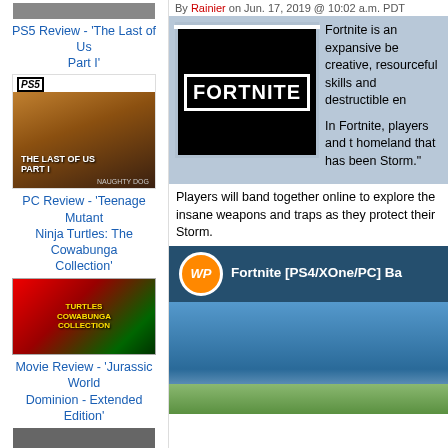[Figure (photo): Small thumbnail image at top of sidebar (partially visible)]
PS5 Review - 'The Last of Us Part I'
[Figure (photo): PS5 box art for The Last of Us Part I showing Ellie in silhouette against warm orange sky]
PC Review - 'Teenage Mutant Ninja Turtles: The Cowabunga Collection'
[Figure (photo): Box art for Teenage Mutant Ninja Turtles: The Cowabunga Collection showing TMNT characters]
Movie Review - 'Jurassic World Dominion - Extended Edition'
[Figure (photo): Small thumbnail partially visible at bottom of sidebar]
By Rainier on Jun. 17, 2019 @ 10:02 a.m. PDT
[Figure (photo): Fortnite logo on black background]
Fortnite is an expansive be creative, resourceful skills and destructible en
In Fortnite, players and t homeland that has been Storm."
Players will band together online to explore the insane weapons and traps as they protect their Storm.
[Figure (screenshot): Fortnite [PS4/XOne/PC] video thumbnail showing game environment with sky and terrain. WP logo in orange circle visible in top bar.]